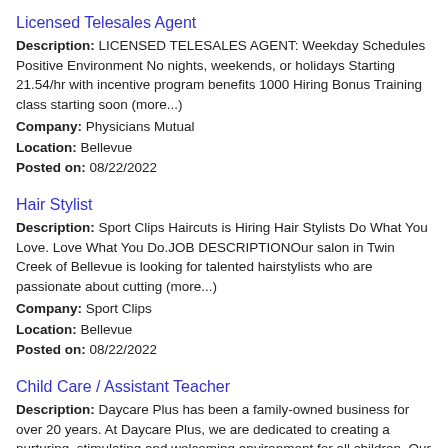Licensed Telesales Agent
Description: LICENSED TELESALES AGENT: Weekday Schedules Positive Environment No nights, weekends, or holidays Starting 21.54/hr with incentive program benefits 1000 Hiring Bonus Training class starting soon (more...)
Company: Physicians Mutual
Location: Bellevue
Posted on: 08/22/2022
Hair Stylist
Description: Sport Clips Haircuts is Hiring Hair Stylists Do What You Love. Love What You Do.JOB DESCRIPTIONOur salon in Twin Creek of Bellevue is looking for talented hairstylists who are passionate about cutting (more...)
Company: Sport Clips
Location: Bellevue
Posted on: 08/22/2022
Child Care / Assistant Teacher
Description: Daycare Plus has been a family-owned business for over 20 years. At Daycare Plus, we are dedicated to creating a nurturing, stimulating and welcoming environment for all children. Our play-based curriculum (more...)